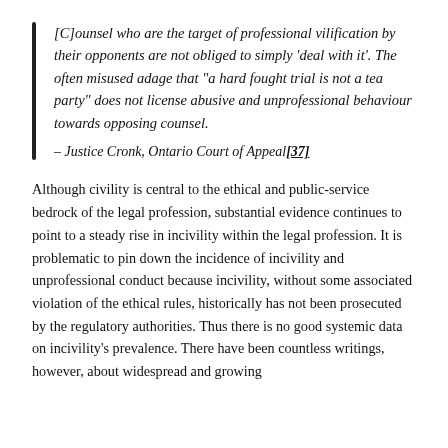[C]ounsel who are the target of professional vilification by their opponents are not obliged to simply 'deal with it'. The often misused adage that "a hard fought trial is not a tea party" does not license abusive and unprofessional behaviour towards opposing counsel.
– Justice Cronk, Ontario Court of Appeal[37]
Although civility is central to the ethical and public-service bedrock of the legal profession, substantial evidence continues to point to a steady rise in incivility within the legal profession. It is problematic to pin down the incidence of incivility and unprofessional conduct because incivility, without some associated violation of the ethical rules, historically has not been prosecuted by the regulatory authorities. Thus there is no good systemic data on incivility's prevalence. There have been countless writings, however, about widespread and growing